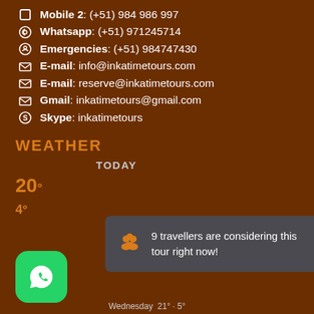Mobile 2: (+51) 984 986 997
Whatsapp: (+51) 971245714
Emergencies: (+51) 984747430
E-mail: info@inkatimetours.com
E-mail: reserve@inkatimetours.com
Gmail: inkatimetours@gmail.com
Skype: inkatimetours
WEATHER
TODAY
20° 4°
Wednesday 21° 5°
9 travellers are considering this tour right now!